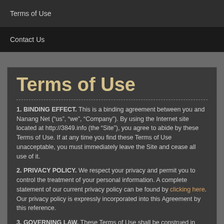Terms of Use
Contact Us
Terms of Use
1. BINDING EFFECT. This is a binding agreement between you and Nanang Net (“us”, “we”, “Company”). By using the Internet site located at http://3849.info (the “Site”), you agree to abide by these Terms of Use. If at any time you find these Terms of Use unacceptable, you must immediately leave the Site and cease all use of it.
2. PRIVACY POLICY. We respect your privacy and permit you to control the treatment of your personal information. A complete statement of our current privacy policy can be found by clicking here. Our privacy policy is expressly incorporated into this Agreement by this reference.
3. GOVERNING LAW. These Terms of Use shall be construed in accordance with and governed by the laws of California and the